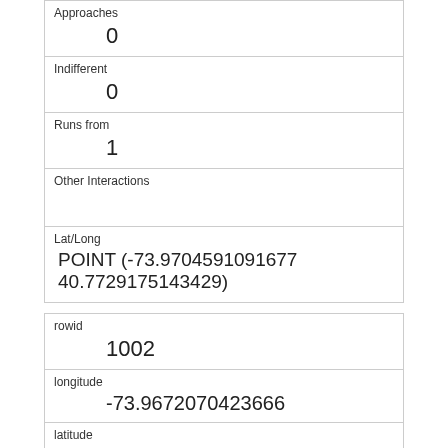| Approaches | 0 |
| Indifferent | 0 |
| Runs from | 1 |
| Other Interactions |  |
| Lat/Long | POINT (-73.9704591091677 40.7729175143429) |
| rowid | 1002 |
| longitude | -73.9672070423666 |
| latitude | 40.783337354891 |
| Unique Squirrel ID | 22C-PM-1006-02 |
| Hectare | 22C |